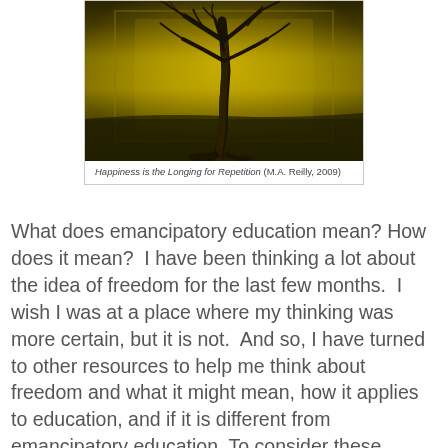[Figure (illustration): A dark, moody painting of a bare tree with twisted branches against a golden-yellow textured background, resembling a wall or architectural surface.]
Happiness is the Longing for Repetition (M.A. Reilly, 2009)
What does emancipatory education mean? How does it mean?  I have been thinking a lot about the idea of freedom for the last few months.  I wish I was at a place where my thinking was more certain, but it is not.  And so, I have turned to other resources to help me think about freedom and what it might mean, how it applies to education, and if it is different from emancipatory education. To consider these questions, I am reading three books right now and all